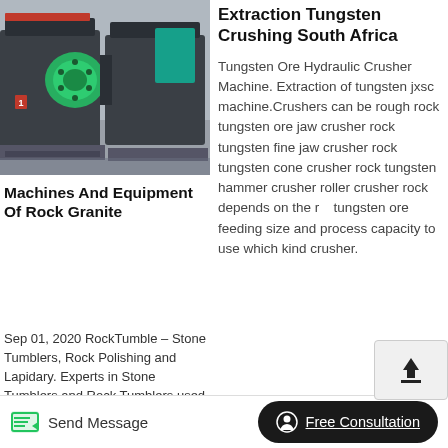[Figure (photo): Industrial crushing/grinding machine equipment in a warehouse setting, dark grey metal machinery with green roller components]
Machines And Equipment Of Rock Granite
Sep 01, 2020 RockTumble – Stone Tumblers, Rock Polishing and Lapidary. Experts in Stone Tumblers and Rock Tumblers used for tumbling and polishing rough
Extraction Tungsten Crushing South Africa
Tungsten Ore Hydraulic Crusher Machine. Extraction of tungsten jxsc machine.Crushers can be rough rock tungsten ore jaw crusher rock tungsten fine jaw crusher rock tungsten cone crusher rock tungsten hammer crusher roller crusher rock depends on the r... tungsten ore feeding size and process capacity to use which kind crusher.
Send Message
Free Consultation